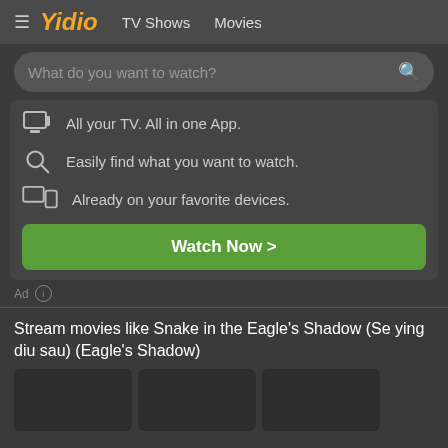≡  Yidio  TV Shows  Movies
What do you want to watch?
All your TV. All in one App.
Easily find what you want to watch.
Already on your favorite devices.
Watch Now >
Ad ⓘ
Stream movies like Snake in the Eagle's Shadow (Se ying diu sau) (Eagle's Shadow)